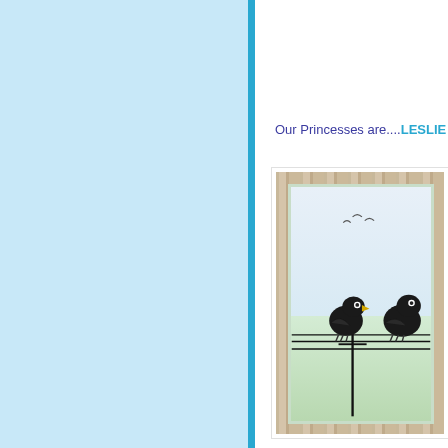Our Princesses are....LESLIE
[Figure (photo): Artwork showing two black birds sitting on power lines, inside a green-bordered frame, with small birds flying in the sky background. The artwork is displayed against a wooden/grey backdrop.]